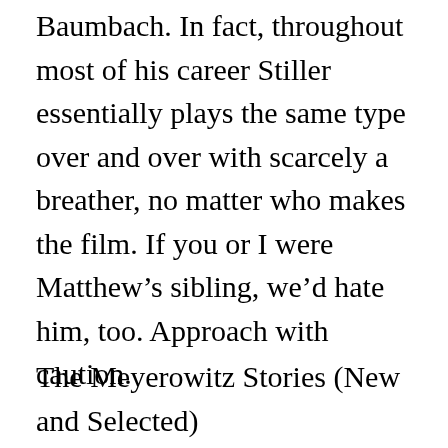Baumbach. In fact, throughout most of his career Stiller essentially plays the same type over and over with scarcely a breather, no matter who makes the film. If you or I were Matthew’s sibling, we’d hate him, too. Approach with caution.
The Meyerowitz Stories (New and Selected)